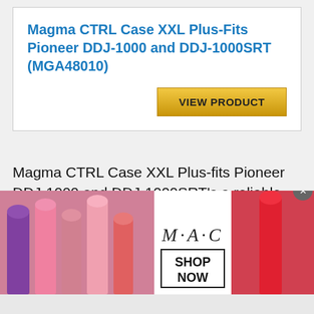Magma CTRL Case XXL Plus-Fits Pioneer DDJ-1000 and DDJ-1000SRT (MGA48010)
[Figure (screenshot): VIEW PRODUCT button with gold/yellow gradient background]
Magma CTRL Case XXL Plus-fits Pioneer DDJ-1000 and DDJ-1000SRT's a reliable hard case for a DJ equipment that is perfect for the professional DJ. The outside of the case is made from a water rejecting polyester material which makes it simple to carry
[Figure (photo): MAC Cosmetics advertisement banner showing lipsticks, MAC logo, and SHOP NOW button]